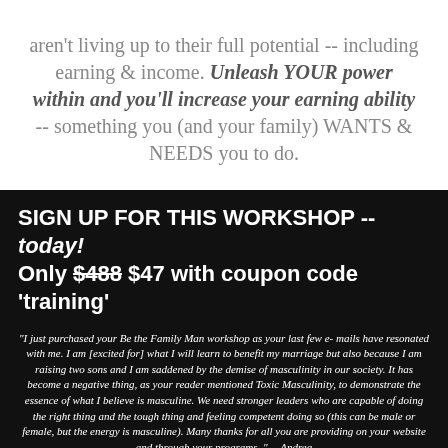aren't living up to their full potential -- including earning & income. Unleash YOUR power within and you'll increase your earning ability -- something you (and your family) WANTS & NEEDS you to do.
SIGN UP FOR THIS WORKSHOP -- today! Only $488 $47 with coupon code 'training'
"I just purchased your Be the Family Man workshop as your last few e-mails have resonated with me. I am [excited for] what I will learn to benefit my marriage but also because I am raising two sons and I am saddened by the demise of masculinity in our society. It has become a negative thing, as your reader mentioned Toxic Masculinity, to demonstrate the essence of what I believe is masculine. We need stronger leaders who are capable of doing the right thing and the tough thing and feeling competent doing so (this can be male or female, but the energy is masculine). Many thanks for all you are providing on your website and through your programs. " -- Andrea